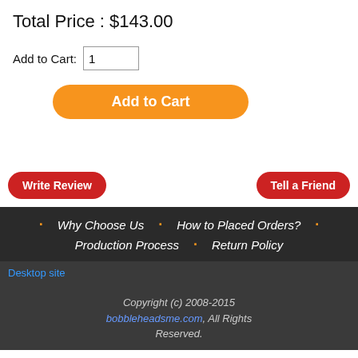Total Price : $143.00
Add to Cart: 1
Add to Cart
Write Review
Tell a Friend
Why Choose Us | How to Placed Orders? | Production Process | Return Policy
Desktop site
Copyright (c) 2008-2015 bobbleheadsme.com, All Rights Reserved.